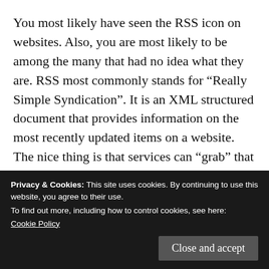You most likely have seen the RSS icon on websites. Also, you are most likely to be among the many that had no idea what they are. RSS most commonly stands for “Really Simple Syndication”. It is an XML structured document that provides information on the most recently updated items on a website. The nice thing is that services can “grab” that feed and create a nice list of those newly updated items. These services vary from other websites,
A tool or service that can read an RSS feed is a free aggregator service, which brings me to my next point.
Privacy & Cookies: This site uses cookies. By continuing to use this website, you agree to their use.
To find out more, including how to control cookies, see here: Cookie Policy